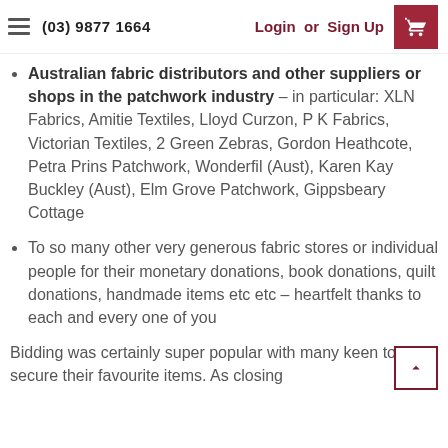(03) 9877 1664  Login or Sign Up
Australian fabric distributors and other suppliers or shops in the patchwork industry – in particular: XLN Fabrics, Amitie Textiles, Lloyd Curzon, P K Fabrics, Victorian Textiles, 2 Green Zebras, Gordon Heathcote, Petra Prins Patchwork, Wonderfil (Aust), Karen Kay Buckley (Aust), Elm Grove Patchwork, Gippsbeary Cottage
To so many other very generous fabric stores or individual people for their monetary donations, book donations, quilt donations, handmade items etc etc – heartfelt thanks to each and every one of you
Bidding was certainly super popular with many keen to secure their favourite items. As closing